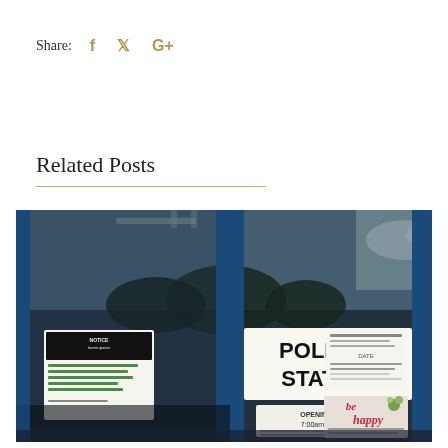Share:  f  🐦  G+
Related Posts
[Figure (photo): Photo of a polling station entrance with glass doors showing signs: a 'POLLING STATION' sign in large bold text, an 'OPENING TIMES 7:00am–10:00pm' sign below it, a notice board with green text on the left door, and a 'be happy' poster on the right door. The doors reflect trees and sky outside.]